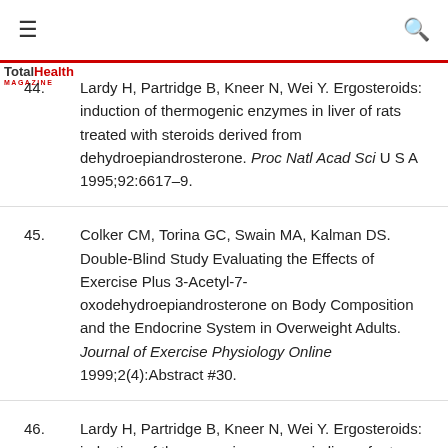TotalHealth MAGAZINE
44. Lardy H, Partridge B, Kneer N, Wei Y. Ergosteroids: induction of thermogenic enzymes in liver of rats treated with steroids derived from dehydroepiandrosterone. Proc Natl Acad Sci U S A 1995;92:6617–9.
45. Colker CM, Torina GC, Swain MA, Kalman DS. Double-Blind Study Evaluating the Effects of Exercise Plus 3-Acetyl-7-oxodehydroepiandrosterone on Body Composition and the Endocrine System in Overweight Adults. Journal of Exercise Physiology Online 1999;2(4):Abstract #30.
46. Lardy H, Partridge B, Kneer N, Wei Y. Ergosteroids: induction of thermogenic enzymes in liver of rats treated with steroids derived from